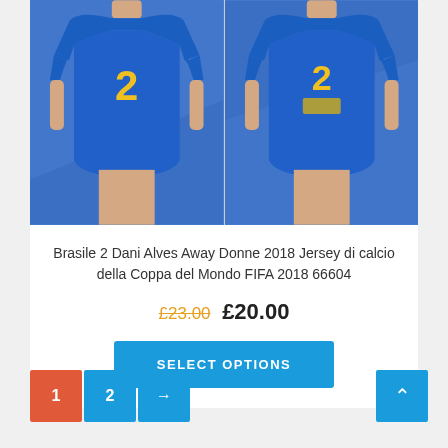[Figure (photo): Two views of a blue Brazil #2 Dani Alves women's football jersey on a mannequin — front and back views side by side]
Brasile 2 Dani Alves Away Donne 2018 Jersey di calcio della Coppa del Mondo FIFA 2018 66604
£23.00 £20.00
SELECT OPTIONS
1 2 →
^